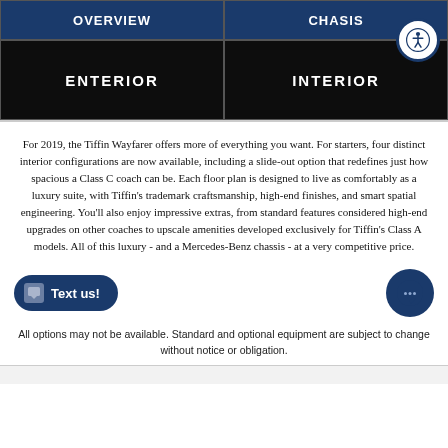OVERVIEW | CHASIS
ENTERIOR | INTERIOR
For 2019, the Tiffin Wayfarer offers more of everything you want. For starters, four distinct interior configurations are now available, including a slide-out option that redefines just how spacious a Class C coach can be. Each floor plan is designed to live as comfortably as a luxury suite, with Tiffin's trademark craftsmanship, high-end finishes, and smart spatial engineering. You'll also enjoy impressive extras, from standard features considered high-end upgrades on other coaches to upscale amenities developed exclusively for Tiffin's Class A models. All of this luxury - and a Mercedes-Benz chassis - at a very competitive price.
All options may not be available. Standard and optional equipment are subject to change without notice or obligation.